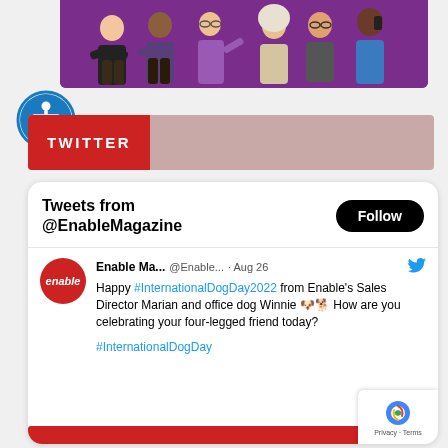[Figure (illustration): Banner with cartoon diverse group of people on purple background]
[Figure (logo): Blue circular accessibility icon with white person figure]
TWITTER
[Figure (screenshot): Twitter widget showing Tweets from @EnableMagazine with Follow button and a tweet from Enable Ma... @Enable... · Aug 26 saying: Happy #InternationalDogDay2022 from Enable's Sales Director Marian and office dog Winnie 🐶🐕 How are you celebrating your four-legged friend today? #InternationalDogDay]